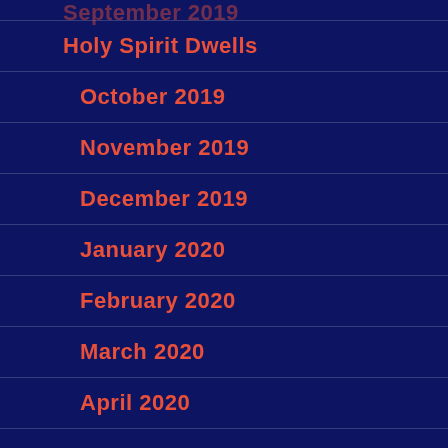September 2019
Holy Spirit Dwells
October 2019
November 2019
December 2019
January 2020
February 2020
March 2020
April 2020